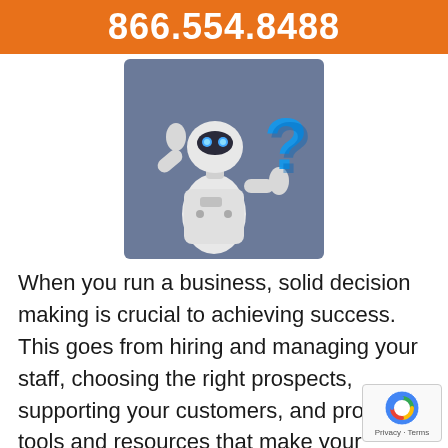866.554.8488
[Figure (illustration): A white humanoid robot holding a blue 3D question mark, posed with one hand raised to its head as if thinking, against a purple-grey background.]
When you run a business, solid decision making is crucial to achieving success. This goes from hiring and managing your staff, choosing the right prospects, supporting your customers, and procuring tools and resources that make your business possible. Today, technology is not only important, it is a major consideration when determining your products, the methods...